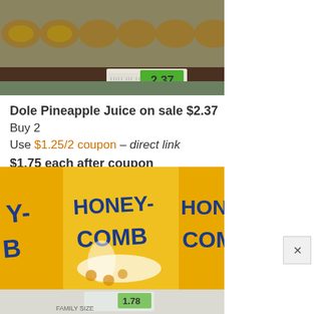[Figure (photo): Store shelf with Dole Pineapple Juice cans; price tag showing 2.37 with green label]
Dole Pineapple Juice on sale $2.37
Buy 2
Use $1.25/2 coupon – direct link
$1.75 each after coupon
[Figure (photo): Store shelf with Honey-Comb cereal boxes in yellow packaging with blue logo text; price tag showing 1.78 at bottom]